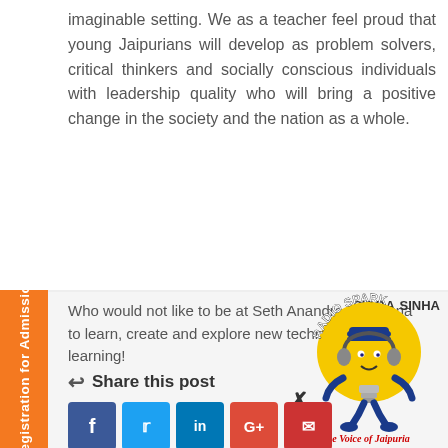imaginable setting. We as a teacher feel proud that young Jaipurians will develop as problem solvers, critical thinkers and socially conscious individuals with leadership quality who will bring a positive change in the society and the nation as a whole.
Who would not like to be at Seth Anandram Jaipuria to learn, create and explore new techniques of learning!
Share this post
[Figure (logo): Radio Spark - The Voice of Jaipuria logo with cartoon lightbulb character wearing headphones]
SIPRA SINHA
Registration for Admission